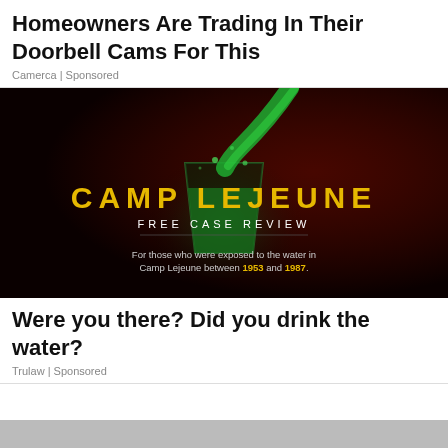Homeowners Are Trading In Their Doorbell Cams For This
Camerca | Sponsored
[Figure (illustration): Dark advertisement image for Camp Lejeune Free Case Review. Features a green liquid being poured into a glass against a dark red/black background. Bold yellow text reads CAMP LEJEUNE, white text below reads FREE CASE REVIEW. Bottom text reads: For those who were exposed to the water in Camp Lejeune between 1953 and 1987.]
Were you there? Did you drink the water?
Trulaw | Sponsored